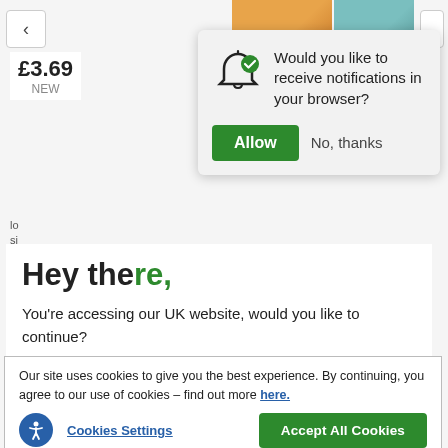[Figure (screenshot): Background webpage showing product listing with price £3.69 and NEW label, partially obscured by modal dialogs]
Would you like to receive notifications in your browser?
Allow
No, thanks
Hey there,
You're accessing our UK website, would you like to continue?
Take me to the US site, decluttr
Our site uses cookies to give you the best experience. By continuing, you agree to our use of cookies – find out more here.
Cookies Settings
Accept All Cookies